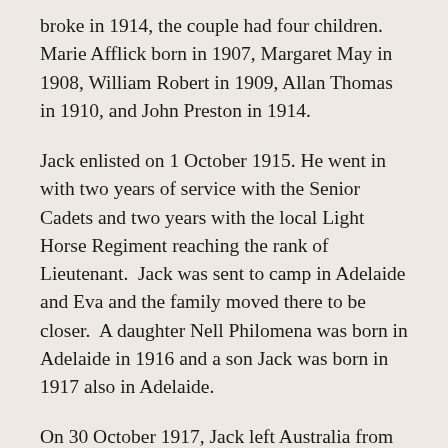broke in 1914, the couple had four children. Marie Afflick born in 1907, Margaret May in 1908, William Robert in 1909, Allan Thomas in 1910, and John Preston in 1914.
Jack enlisted on 1 October 1915. He went in with two years of service with the Senior Cadets and two years with the local Light Horse Regiment reaching the rank of Lieutenant.  Jack was sent to camp in Adelaide and Eva and the family moved there to be closer.  A daughter Nell Philomena was born in Adelaide in 1916 and a son Jack was born in 1917 also in Adelaide.
On 30 October 1917, Jack left Australia from Melbourne on the Aeneas